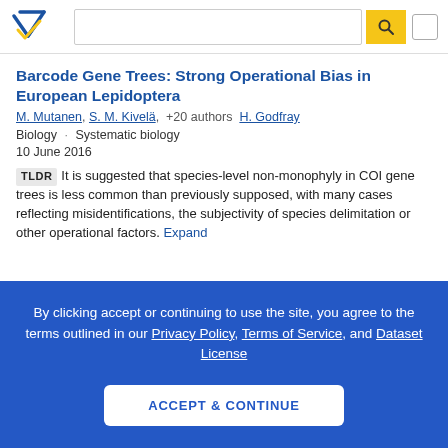Semantic Scholar search header with logo and search bar
Barcode Gene Trees: Strong Operational Bias in European Lepidoptera
M. Mutanen, S. M. Kivelä, +20 authors H. Godfray
Biology · Systematic biology
10 June 2016
TLDR It is suggested that species-level non-monophyly in COI gene trees is less common than previously supposed, with many cases reflecting misidentifications, the subjectivity of species delimitation or other operational factors.
By clicking accept or continuing to use the site, you agree to the terms outlined in our Privacy Policy, Terms of Service, and Dataset License
ACCEPT & CONTINUE